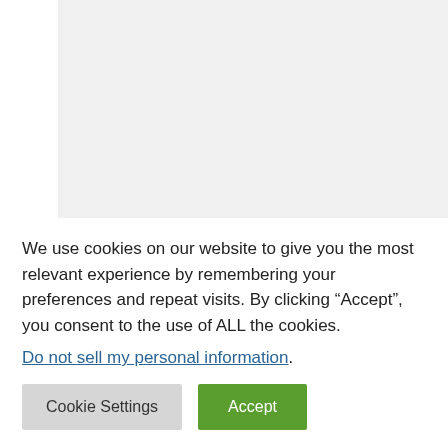[Figure (photo): Light gray placeholder image area representing a photograph]
After Italy entered World War I in the spring of 1915, the Italian and Austro-Hungarian armies began
We use cookies on our website to give you the most relevant experience by remembering your preferences and repeat visits. By clicking “Accept”, you consent to the use of ALL the cookies.
Do not sell my personal information.